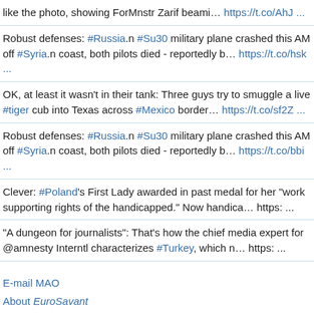like the photo, showing ForMnstr Zarif beami… https://t.co/AhJ ...
Robust defenses: #Russia.n #Su30 military plane crashed this AM off #Syria.n coast, both pilots died - reportedly b… https://t.co/hsk ...
OK, at least it wasn't in their tank: Three guys try to smuggle a live #tiger cub into Texas across #Mexico border… https://t.co/sf2Z ...
Robust defenses: #Russia.n #Su30 military plane crashed this AM off #Syria.n coast, both pilots died - reportedly b… https://t.co/bbi ...
Clever: #Poland's First Lady awarded in past medal for her "work supporting rights of the handicapped." Now handica… https: ...
"A dungeon for journalists": That's how the chief media expert for @amnesty Interntl characterizes #Turkey, which n… https: ...
E-mail MAO
About EuroSavant